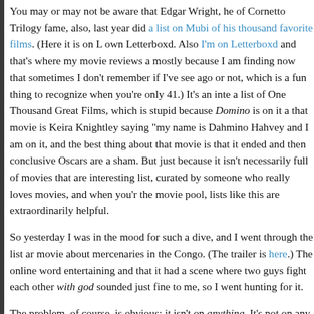You may or may not be aware that Edgar Wright, he of Cornetto Trilogy fame, also, last year did a list on Mubi of his thousand favorite films. (Here it is on L own Letterboxd. Also I'm on Letterboxd and that's where my movie reviews a mostly because I am finding now that sometimes I don't remember if I've see ago or not, which is a fun thing to recognize when you're only 41.) It's an inte a list of One Thousand Great Films, which is stupid because Domino is on it a that movie is Keira Knightley saying "my name is Dahmino Hahvey and I am on it, and the best thing about that movie is that it ended and then conclusive Oscars are a sham. But just because it isn't necessarily full of movies that are interesting list, curated by someone who really loves movies, and when you'r the movie pool, lists like this are extraordinarily helpful.
So yesterday I was in the mood for such a dive, and I went through the list ar movie about mercenaries in the Congo. (The trailer is here.) The online word entertaining and that it had a scene where two guys fight each other with god sounded just fine to me, so I went hunting for it.
The problem, of course, is obvious: it isn't on anything. It's not on any stream virtually rent it on iTunes or Google Play or Windows Media rental or Cineplex Network's movie library. (I only occasionally do Google Play rentals and don't to sign up, they aren't helpful.) There's a couple of "free movie" streaming site